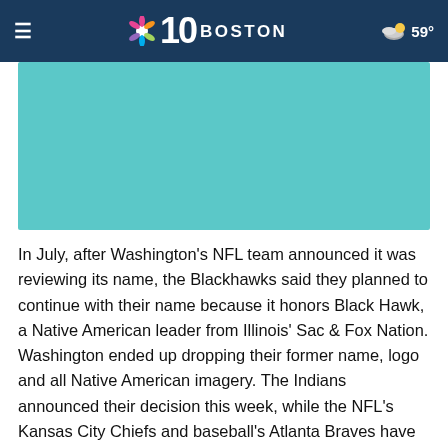NBC 10 BOSTON  59°
[Figure (photo): Teal/turquoise colored image placeholder area below the header]
In July, after Washington's NFL team announced it was reviewing its name, the Blackhawks said they planned to continue with their name because it honors Black Hawk, a Native American leader from Illinois' Sac & Fox Nation. Washington ended up dropping their former name, logo and all Native American imagery. The Indians announced their decision this week, while the NFL's Kansas City Chiefs and baseball's Atlanta Braves have said they have no plans to change their name.